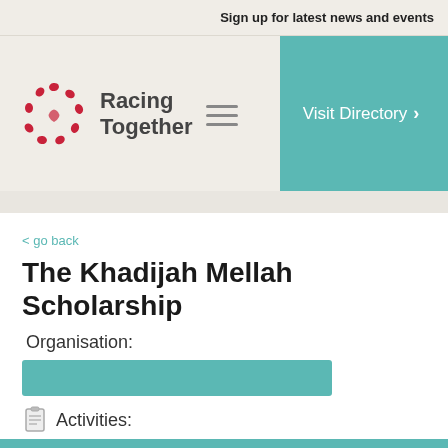Sign up for latest news and events
[Figure (logo): Racing Together logo with red circular icon and hamburger menu lines]
[Figure (other): Visit Directory teal button with chevron]
< go back
The Khadijah Mellah Scholarship
Organisation:
Activities:
The Khadijah Mellah Scholarship